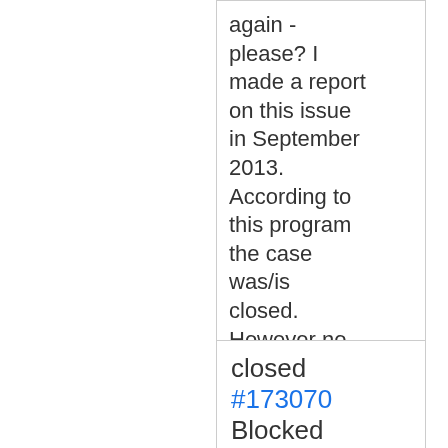again - please? I made a report on this issue in September 2013. According to this program the case was/is closed. However no action was taken and the situation persists.
closed #173070 Blocked